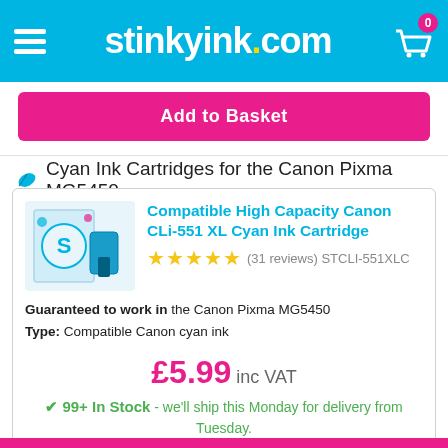[Figure (screenshot): Stinkyink.com website header with hamburger menu, logo, and basket icon with badge showing 0]
Add to Basket
Cyan Ink Cartridges for the Canon Pixma MG5450
[Figure (photo): Compatible High Capacity Canon CLi-551 XL Cyan Ink Cartridge product image]
Compatible High Capacity Canon CLi-551 XL Cyan Ink Cartridge
★★★★★ (31 reviews) STCLI-551XLC
Guaranteed to work in the Canon Pixma MG5450
Type: Compatible Canon cyan ink
£5.99 inc VAT
✔ 99+ In Stock - we'll ship this Monday for delivery from Tuesday.